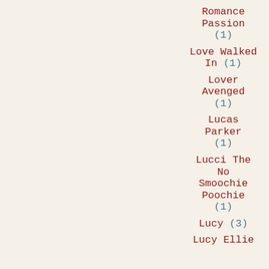Romance Passion (1)
Love Walked In (1)
Lover Avenged (1)
Lucas Parker (1)
Lucci The No Smoochie Poochie (1)
Lucy (3)
Lucy Ellie...